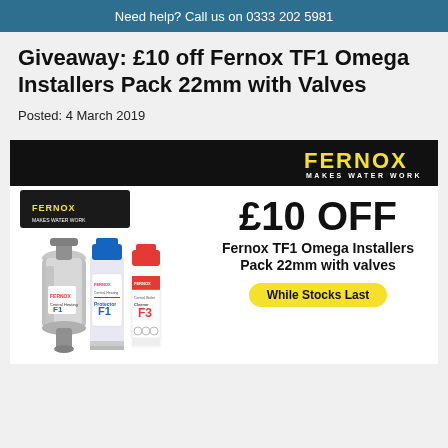Need help? Call us on 0333 202 5981
Giveaway: £10 off Fernox TF1 Omega Installers Pack 22mm with Valves
Posted: 4 March 2019
[Figure (photo): Promotional image for Fernox TF1 Omega Installers Pack 22mm with Valves showing product image on left side, Fernox logo and tagline 'Makes Water Work' on dark bar at top, '£10 OFF' text in large bold font, product name 'Fernox TF1 Omega Installers Pack 22mm with valves', and a yellow 'While Stocks Last' button.]